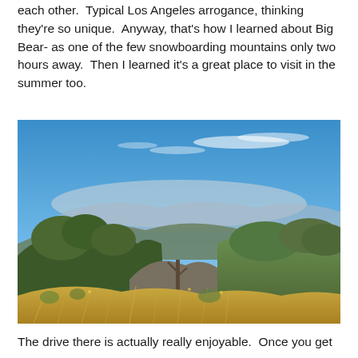each other.  Typical Los Angeles arrogance, thinking they're so unique.  Anyway, that's how I learned about Big Bear- as one of the few snowboarding mountains only two hours away.  Then I learned it's a great place to visit in the summer too.
[Figure (photo): Landscape photograph of a mountain hillside with dry golden grass in the foreground, green shrubs and trees in the middle ground, and a wide valley with hazy mountains in the background under a bright blue sky with light clouds.]
The drive there is actually really enjoyable.  Once you get